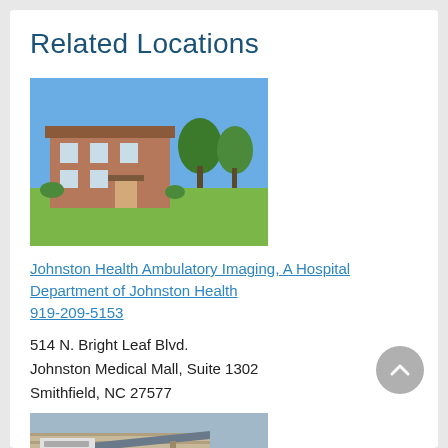Related Locations
[Figure (photo): Exterior photo of Johnston Health Ambulatory Imaging facility, a brick building with trees and lawn in foreground under blue sky]
Johnston Health Ambulatory Imaging, A Hospital Department of Johnston Health
919-209-5153
514 N. Bright Leaf Blvd.
Johnston Medical Mall, Suite 1302
Smithfield, NC 27577
[Figure (photo): Exterior photo of a medical building with brick facade and a modern canopy entrance, sign visible on building]